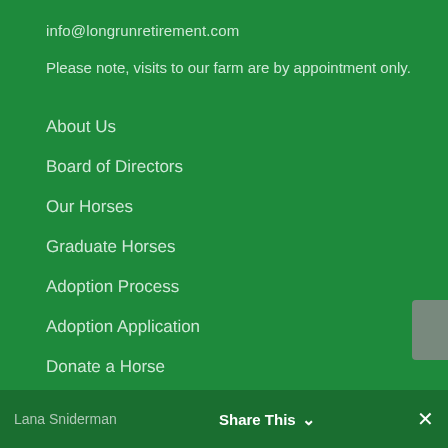info@longrunretirement.com
Please note, visits to our farm are by appointment only.
About Us
Board of Directors
Our Horses
Graduate Horses
Adoption Process
Adoption Application
Donate a Horse
Lana Sniderman    Share This ˅    ✕